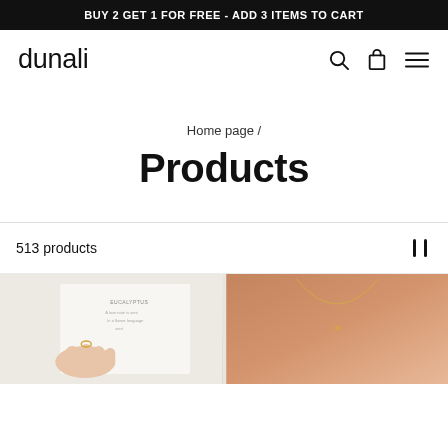BUY 2 GET 1 FOR FREE - ADD 3 ITEMS TO CART
dunali
Home page /
Products
513 products
[Figure (photo): Hand touching a small ring on a white card with 'EUCALYPTUS' text]
[Figure (photo): Close-up of a person's neck wearing a delicate gold necklace]